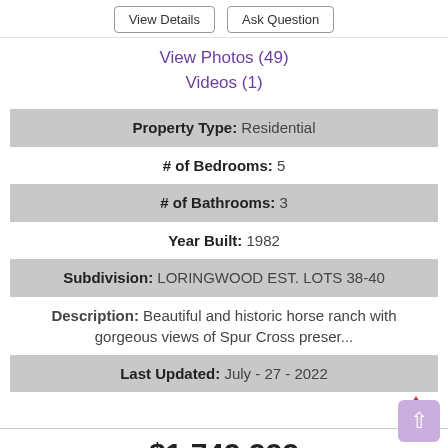View Details | Ask Question
View Photos (49)
Videos (1)
| Property Type: | Residential |
| # of Bedrooms: | 5 |
| # of Bathrooms: | 3 |
| Year Built: | 1982 |
| Subdivision: | LORINGWOOD EST. LOTS 38-40 |
| Description: | Beautiful and historic horse ranch with gorgeous views of Spur Cross preser... |
| Last Updated: | July - 27 - 2022 |
$1,749,999